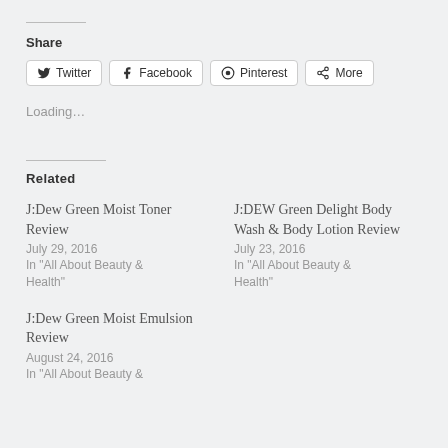Share
Twitter | Facebook | Pinterest | More
Loading…
Related
J:Dew Green Moist Toner Review
July 29, 2016
In "All About Beauty & Health"
J:DEW Green Delight Body Wash & Body Lotion Review
July 23, 2016
In "All About Beauty & Health"
J:Dew Green Moist Emulsion Review
August 24, 2016
In "All About Beauty &